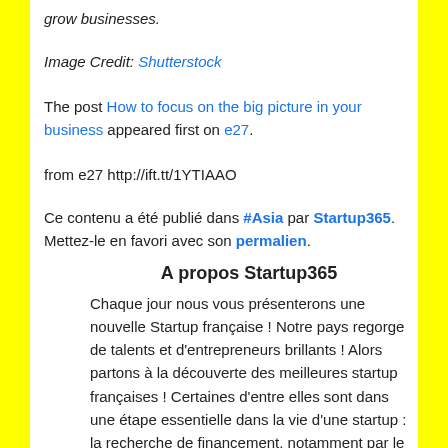grow businesses.
Image Credit: Shutterstock
The post How to focus on the big picture in your business appeared first on e27.
from e27 http://ift.tt/1YTIAAO
Ce contenu a été publié dans #Asia par Startup365. Mettez-le en favori avec son permalien.
A propos Startup365
Chaque jour nous vous présenterons une nouvelle Startup française ! Notre pays regorge de talents et d'entrepreneurs brillants ! Alors partons à la découverte des meilleures startup françaises ! Certaines d'entre elles sont dans une étape essentielle dans la vie d'une startup : la recherche de financement, notamment par le financement participatif (ou crowdfunding en anglais). Alors participez à cette grande aventure en leur faisant